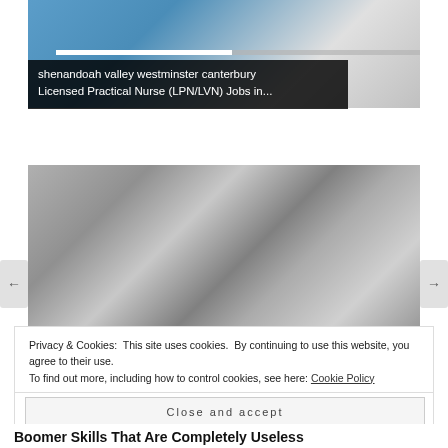[Figure (photo): Partial view of a person in blue scrubs, screenshot of a video player with progress bar]
shenandoah valley westminster canterbury Licensed Practical Nurse (LPN/LVN) Jobs in...
[Figure (photo): Vintage black and white photo of a woman in an apron in a kitchen, looking stressed]
Privacy & Cookies: This site uses cookies. By continuing to use this website, you agree to their use.
To find out more, including how to control cookies, see here: Cookie Policy
Close and accept
Boomer Skills That Are Completely Useless